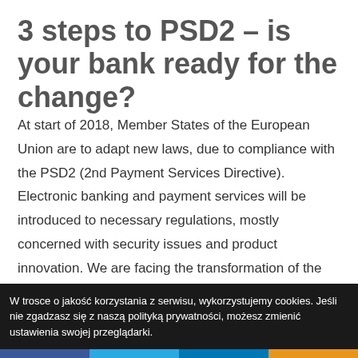3 steps to PSD2 – is your bank ready for the change?
At start of 2018, Member States of the European Union are to adapt new laws, due to compliance with the PSD2 (2nd Payment Services Directive). Electronic banking and payment services will be introduced to necessary regulations, mostly concerned with security issues and product innovation. We are facing the transformation of the
W trosce o jakość korzystania z serwisu, wykorzystujemy cookies. Jeśli nie zgadzasz się z naszą polityką prywatności, możesz zmienić ustawienia swojej przeglądarki.